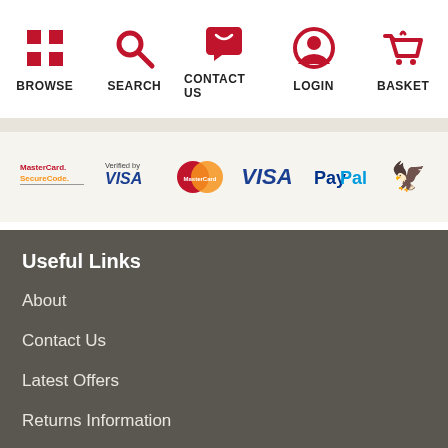BROWSE | SEARCH | CONTACT US | LOGIN | BASKET
[Figure (logo): Payment method logos: MasterCard SecureCode, Verified by VISA, MasterCard, VISA, PayPal, Barclays]
Useful Links
About
Contact Us
Latest Offers
Returns Information
Central Heating Guides
Boiler Buying Guide